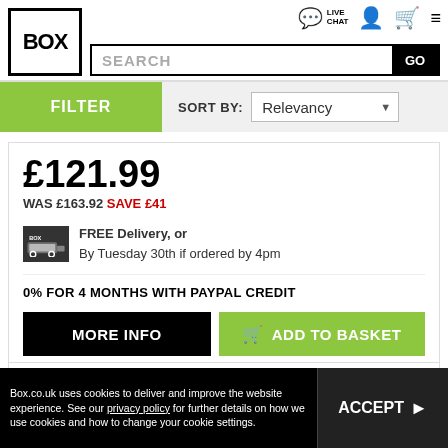[Figure (logo): BOX logo - black square border with BOX text inside]
[Figure (screenshot): Live Chat icon, person icon, cart icon, hamburger menu icon in header]
SEARCH GO
FILTER
SORT BY: Relevancy
£121.99
WAS £163.92 SAVE £41
FREE Delivery, or By Tuesday 30th if ordered by 4pm
0% FOR 4 MONTHS WITH PAYPAL CREDIT
MORE INFO
ADD TO BASKET
COMPARE
Box.co.uk uses cookies to deliver and improve the website experience. See our privacy policy for further details on how we use cookies and how to change your cookie settings.
ACCEPT